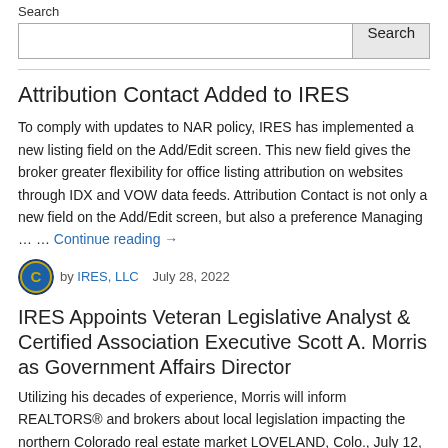Search
Attribution Contact Added to IRES
To comply with updates to NAR policy, IRES has implemented a new listing field on the Add/Edit screen. This new field gives the broker greater flexibility for office listing attribution on websites through IDX and VOW data feeds. Attribution Contact is not only a new field on the Add/Edit screen, but also a preference Managing … … Continue reading →
by IRES, LLC    July 28, 2022
IRES Appoints Veteran Legislative Analyst & Certified Association Executive Scott A. Morris as Government Affairs Director
Utilizing his decades of experience, Morris will inform REALTORS® and brokers about local legislation impacting the northern Colorado real estate market LOVELAND, Colo., July 12, 2022 — Information and Real